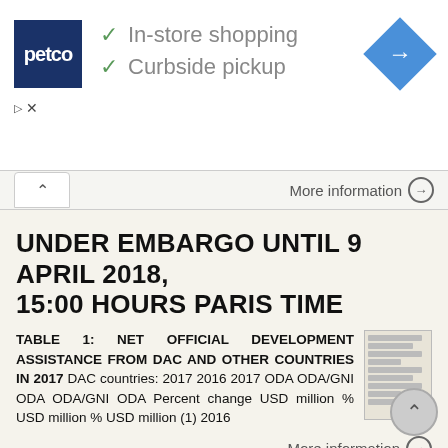[Figure (screenshot): Petco advertisement banner showing logo, In-store shopping and Curbside pickup checkmarks, and navigation diamond icon]
More information →
UNDER EMBARGO UNTIL 9 APRIL 2018, 15:00 HOURS PARIS TIME
TABLE 1: NET OFFICIAL DEVELOPMENT ASSISTANCE FROM DAC AND OTHER COUNTRIES IN 2017 DAC countries: 2017 2016 2017 ODA ODA/GNI ODA ODA/GNI ODA Percent change USD million % USD million % USD million (1) 2016
[Figure (table-as-image): Thumbnail image of a data table]
More information →
Fertility rate and employment rate: how do they interact to each other?